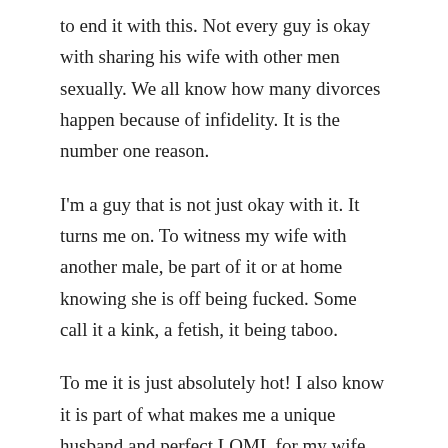to end it with this. Not every guy is okay with sharing his wife with other men sexually. We all know how many divorces happen because of infidelity. It is the number one reason.
I'm a guy that is not just okay with it. It turns me on. To witness my wife with another male, be part of it or at home knowing she is off being fucked. Some call it a kink, a fetish, it being taboo.
To me it is just absolutely hot! I also know it is part of what makes me a unique husband and perfect LOML for my wife.
Share this: